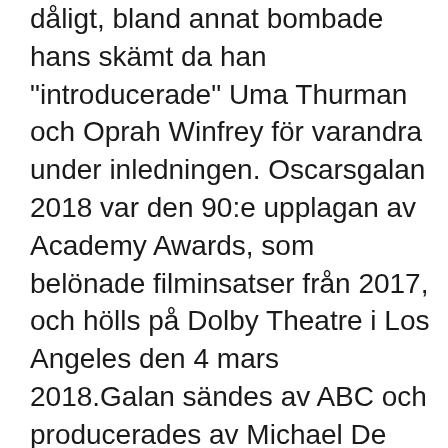dåligt, bland annat bombade hans skämt da han "introducerade" Uma Thurman och Oprah Winfrey för varandra under inledningen. Oscarsgalan 2018 var den 90:e upplagan av Academy Awards, som belönade filminsatser från 2017, och hölls på Dolby Theatre i Los Angeles den 4 mars 2018.Galan sändes av ABC och producerades av Michael De Luca och Jennifer Todd. The Academy Award for Best Picture is one of the Academy Awards presented annually by the Academy of Motion Picture Arts and Sciences (AMPAS) since the awards debuted in 1929. This award goes to the producers of the film and is the only category in which every member of the Academy is eligible to submit a nomination and vote on the final ballot. [1] When it premiered back in 1928, Walt Disney's Steamboat Willie was a near-overnight success. As